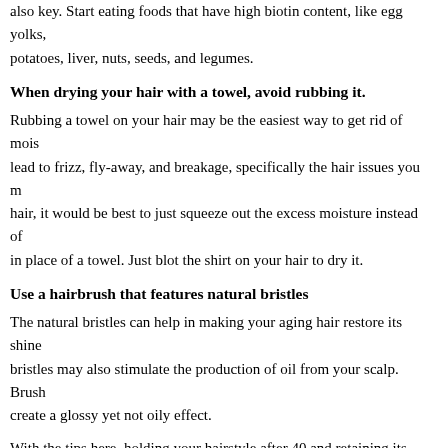also key. Start eating foods that have high biotin content, like egg yolks, potatoes, liver, nuts, seeds, and legumes.
When drying your hair with a towel, avoid rubbing it.
Rubbing a towel on your hair may be the easiest way to get rid of moisture but it can lead to frizz, fly-away, and breakage, specifically the hair issues you may have. For wet hair, it would be best to just squeeze out the excess moisture instead of rubbing. Use a shirt in place of a towel. Just blot the shirt on your hair to dry it.
Use a hairbrush that features natural bristles
The natural bristles can help in making your aging hair restore its shine and luster. The bristles may also stimulate the production of oil from your scalp. Brushing this way can create a glossy yet not oily effect.
With the tips here, holding your hairstyle after 40 and retaining its softness won't be that difficult for you. You can confidently and gracefully show everyone that you own your age.
Author: Mary Cris Dumdum from Better Not Younger
YOU MAY ALSO LIKE: